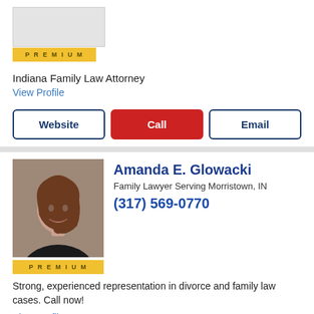[Figure (photo): Premium badge placeholder at top of page]
Indiana Family Law Attorney
View Profile
Website | Call | Email (buttons)
[Figure (photo): Headshot photo of Amanda E. Glowacki, a woman with brown hair, smiling, wearing a black top. Premium badge below photo.]
Amanda E. Glowacki
Family Lawyer Serving Morristown, IN
(317) 569-0770
Strong, experienced representation in divorce and family law cases. Call now!
View Profile
Website | Call | Email (buttons)